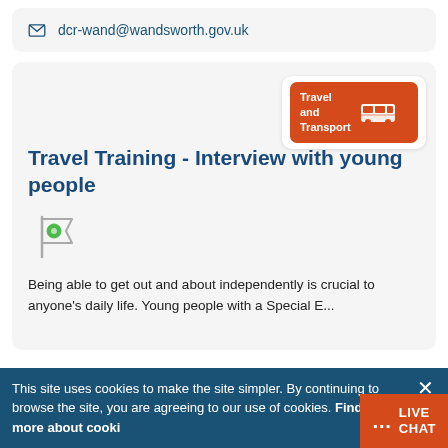✉ dcr-wand@wandsworth.gov.uk
[Figure (illustration): Travel and Transport category badge: orange/red rounded rectangle with white bus icon and text 'Travel and Transport']
Travel Training - Interview with young people
[Figure (illustration): A green-dotted flag/waypoint icon in grey outline style]
Being able to get out and about independently is crucial to anyone's daily life. Young people with a Special E...
This site uses cookies to make the site simpler. By continuing to browse the site, you are agreeing to our use of cookies. Find out more about cooki...